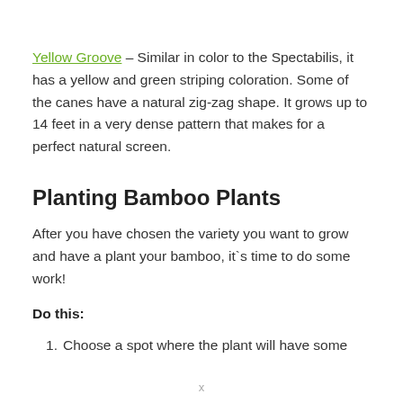Yellow Groove – Similar in color to the Spectabilis, it has a yellow and green striping coloration. Some of the canes have a natural zig-zag shape. It grows up to 14 feet in a very dense pattern that makes for a perfect natural screen.
Planting Bamboo Plants
After you have chosen the variety you want to grow and have a plant your bamboo, it`s time to do some work!
Do this:
Choose a spot where the plant will have some
x